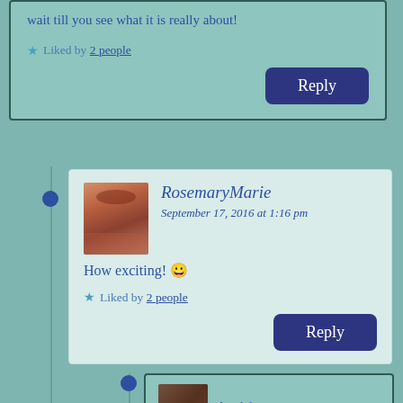wait till you see what it is really about!
★ Liked by 2 people
Reply
RosemaryMarie
September 17, 2016 at 1:16 pm
How exciting! 😀
★ Liked by 2 people
Reply
bmitjessesue